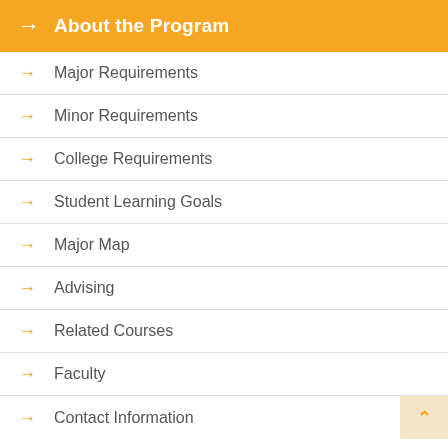About the Program
Major Requirements
Minor Requirements
College Requirements
Student Learning Goals
Major Map
Advising
Related Courses
Faculty
Contact Information